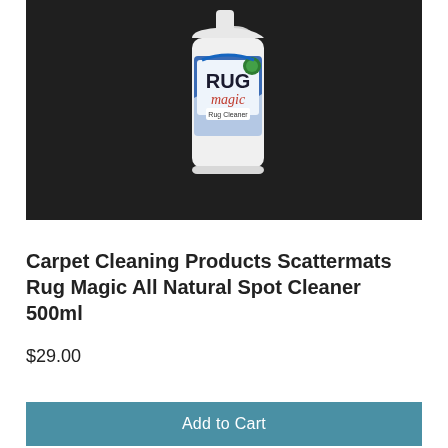[Figure (photo): A white spray bottle of Rug Magic All Natural Spot Cleaner on a dark carpet background. The bottle has a blue and white label with 'RUG magic' text and 'Rug Cleaner' on it.]
Carpet Cleaning Products Scattermats Rug Magic All Natural Spot Cleaner 500ml
$29.00
Add to Cart